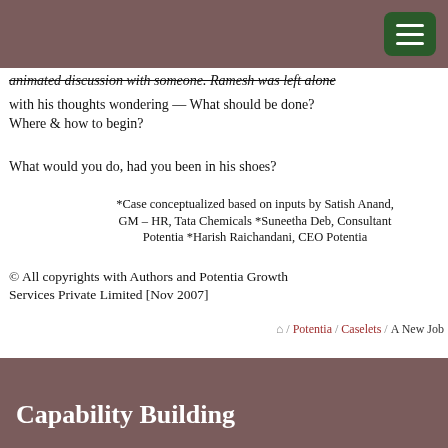animated discussion with someone. Ramesh was left alone with his thoughts wondering — What should be done? Where & how to begin?
What would you do, had you been in his shoes?
*Case conceptualized based on inputs by Satish Anand, GM – HR, Tata Chemicals *Suneetha Deb, Consultant Potentia *Harish Raichandani, CEO Potentia
© All copyrights with Authors and Potentia Growth Services Private Limited [Nov 2007]
Potentia / Caselets / A New Job
Capability Building